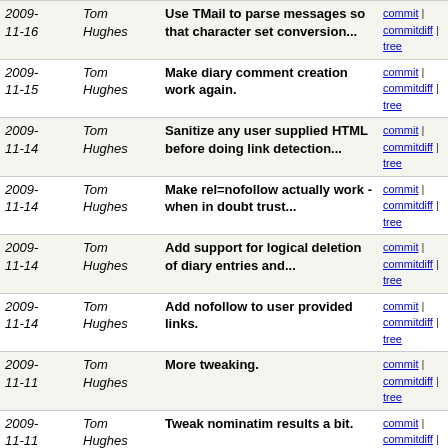| Date | Author | Message | Links |
| --- | --- | --- | --- |
| 2009-11-16 | Tom Hughes | Use TMail to parse messages so that character set conversion... | commit | commitdiff | tree |
| 2009-11-15 | Tom Hughes | Make diary comment creation work again. | commit | commitdiff | tree |
| 2009-11-14 | Tom Hughes | Sanitize any user supplied HTML before doing link detection... | commit | commitdiff | tree |
| 2009-11-14 | Tom Hughes | Make rel=nofollow actually work - when in doubt trust... | commit | commitdiff | tree |
| 2009-11-14 | Tom Hughes | Add support for logical deletion of diary entries and... | commit | commitdiff | tree |
| 2009-11-14 | Tom Hughes | Add nofollow to user provided links. | commit | commitdiff | tree |
| 2009-11-11 | Tom Hughes | More tweaking. | commit | commitdiff | tree |
| 2009-11-11 | Tom Hughes | Tweak nominatim results a bit. | commit | commitdiff | tree |
| 2009-11-11 | Tom Hughes | Make nominatim live. | commit | commitdiff | tree |
| 2009-11-10 | Tom Hughes | Send the language string to nominatim. | commit | commitdiff | tree |
| 2009-11-10 | Tom Hughes | Pass the viewbox to nominatim when possible. | commit | commitdiff | tree |
| 2009-11-10 | Tom Hughes | Fix a few nominatim issues. | commit | commitdiff | tree |
| 2009-11-10 | Tom Hughes | Fix various variable referencing problems in translations. | commit | commitdiff | tree |